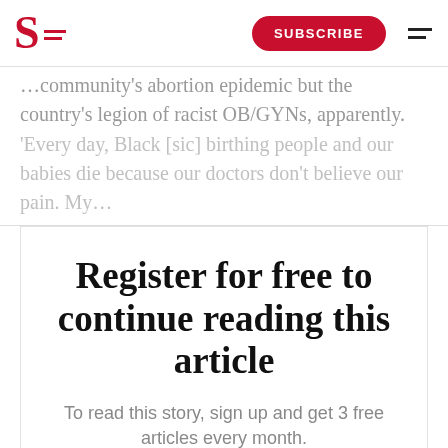S [logo] SUBSCRIBE [menu]
community's abortion epidemic but the country's legion of racist OB/GYNs, apparently.
'Every day, Black [sic] birthing people and our babies die because our doctors don't believe our pain. My...
Register for free to continue reading this article
To read this story, sign up and get 3 free articles every month.